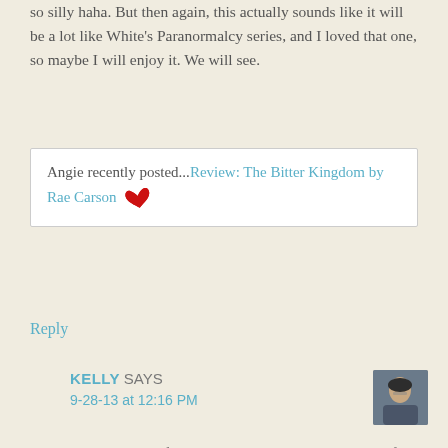so silly haha. But then again, this actually sounds like it will be a lot like White's Paranormalcy series, and I loved that one, so maybe I will enjoy it. We will see.
Angie recently posted...Review: The Bitter Kingdom by Rae Carson 🦋
Reply
KELLY SAYS
9-28-13 at 12:16 PM
Yeah, there's definitely less mythology than I wanted from the book. ): Yep, floods. I still don't get it, although I think that the whole Nile in Egypt thing might be the reason for it. The Chaos of Stars is a lot like the Paranormalcy series, but without the action throughout the book. The Chaos of Stars mainly focuses on the romance while Paranormalcy is more of a mystery and action